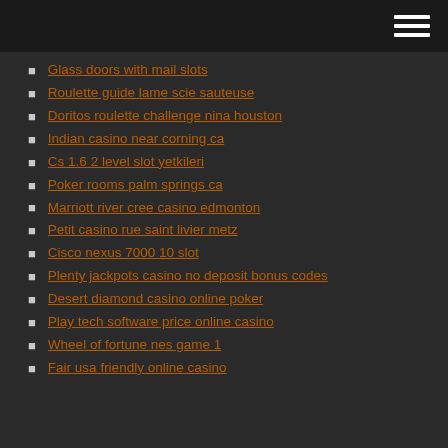Glass doors with mail slots
Roulette guide lame scie sauteuse
Doritos roulette challenge nina houston
Indian casino near corning ca
Cs 1.6 2 level slot yetkileri
Poker rooms palm springs ca
Marriott river cree casino edmonton
Petit casino rue saint livier metz
Cisco nexus 7000 10 slot
Plenty jackpots casino no deposit bonus codes
Desert diamond casino online poker
Play tech software price online casino
Wheel of fortune nes game 1
Fair usa friendly online casino